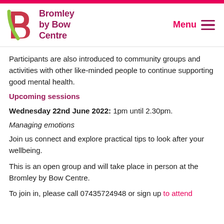[Figure (logo): Bromley by Bow Centre logo with a stylized B in green and pink, and bold text reading 'Bromley by Bow Centre' in dark pink/maroon.]
Participants are also introduced to community groups and activities with other like-minded people to continue supporting good mental health.
Upcoming sessions
Wednesday 22nd June 2022: 1pm until 2.30pm.
Managing emotions
Join us connect and explore practical tips to look after your wellbeing.
This is an open group and will take place in person at the Bromley by Bow Centre.
To join in, please call 07435724948 or sign up to attend